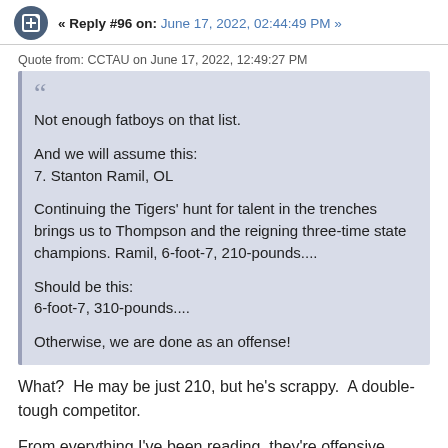« Reply #96 on: June 17, 2022, 02:44:49 PM »
Quote from: CCTAU on June 17, 2022, 12:49:27 PM
Not enough fatboys on that list.

And we will assume this:
7. Stanton Ramil, OL

Continuing the Tigers' hunt for talent in the trenches brings us to Thompson and the reigning three-time state champions. Ramil, 6-foot-7, 210-pounds....

Should be this:
6-foot-7, 310-pounds....

Otherwise, we are done as an offense!
What?  He may be just 210, but he's scrappy.  A double-tough competitor.
From everything I've been reading, they're offensive architects of linemen and their idea of